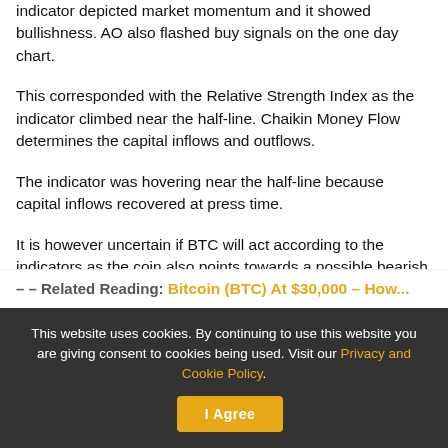indicator depicted market momentum and it showed bullishness. AO also flashed buy signals on the one day chart.
This corresponded with the Relative Strength Index as the indicator climbed near the half-line. Chaikin Money Flow determines the capital inflows and outflows.
The indicator was hovering near the half-line because capital inflows recovered at press time.
It is however uncertain if BTC will act according to the indicators as the coin also points towards a possible bearish turn in price.
Related Reading: Bitcoin (BTC) At $30,000 – How...
This website uses cookies. By continuing to use this website you are giving consent to cookies being used. Visit our Privacy and Cookie Policy. I Agree